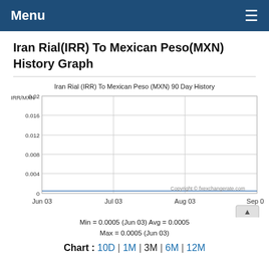Menu ☰
Iran Rial(IRR) To Mexican Peso(MXN) History Graph
[Figure (continuous-plot): Line chart showing IRR to MXN exchange rate over 90 days from Jun 03 to Sep 02. Y-axis ranges from 0 to 0.02 with gridlines at 0, 0.004, 0.008, 0.012, 0.016, 0.02. The exchange rate remains flat near 0.0005 throughout the period. X-axis labels: Jun 03, Jul 03, Aug 03, Sep 02.]
Min = 0.0005 (Jun 03) Avg = 0.0005 Max = 0.0005 (Jun 03)
Chart : 10D | 1M | 3M | 6M | 12M